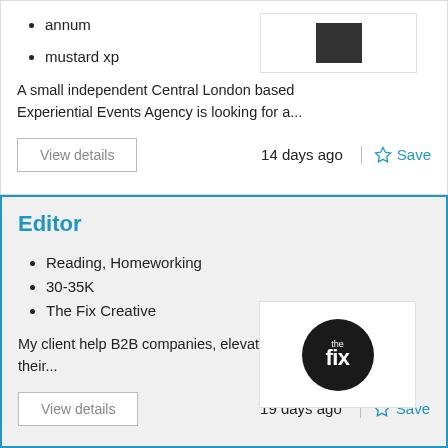annum
mustard xp
A small independent Central London based Experiential Events Agency is looking for a...
14 days ago
Editor
Reading, Homeworking
30-35K
The Fix Creative
My client help B2B companies, elevate their...
19 days ago